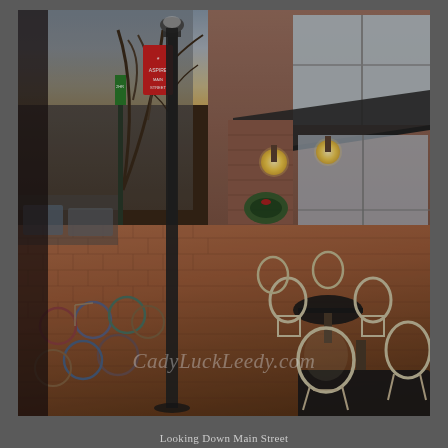[Figure (photo): Street-level photograph looking down a brick sidewalk on Main Street. Outdoor cafe chairs and tables are visible on the right side in front of storefronts with warm globe lights. Bicycles are parked along the left side. Bare winter trees line the street. A red holiday banner hangs from a lamppost. The scene appears to be a downtown area in late afternoon/evening light. A watermark reading 'CadyLuckLeedy.com' appears in the lower portion of the image.]
Looking Down Main Street